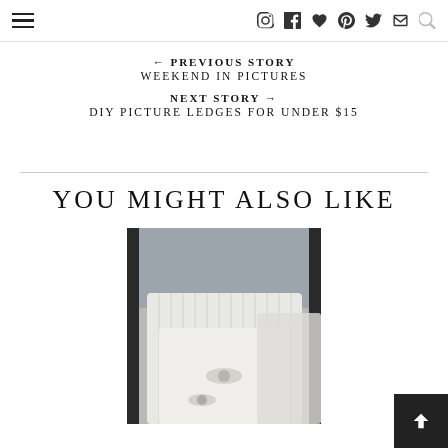Navigation header with hamburger menu and social icons (Instagram, Facebook, Heart, Pinterest, Twitter, Email, Search)
← PREVIOUS STORY
WEEKEND IN PICTURES
NEXT STORY →
DIY PICTURE LEDGES FOR UNDER $15
YOU MIGHT ALSO LIKE
[Figure (photo): White decorative pillows with ribbon ties arranged on a bed with a dark metal headboard]